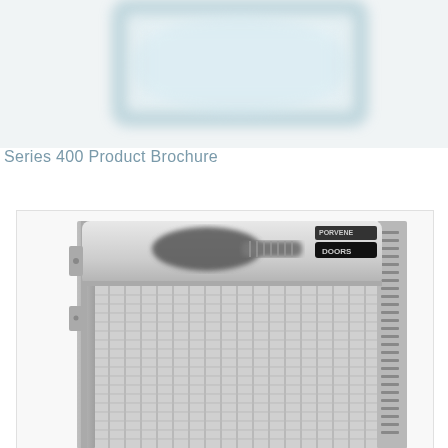[Figure (photo): Blurred product image showing a rectangular device with teal/light blue glowing border on white background — appears to be a door or panel product]
Series 400 Product Brochure
[Figure (photo): Close-up photograph of a Porvene Doors Series 400 product — a stainless steel industrial door mechanism showing the header/top section with roller mechanism, spring assembly, and metal grid/screen panel below. The unit appears to be a high-speed roll-up door with visible vertical and horizontal wire grid slats.]